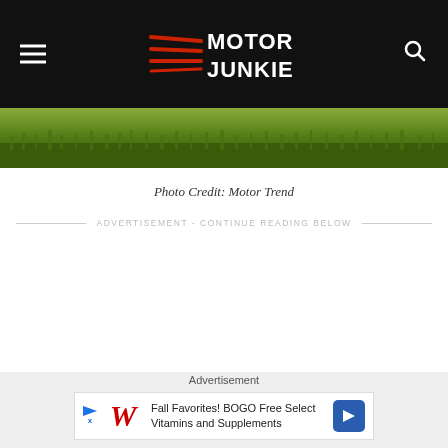Motor Junkie
[Figure (photo): Strip of green grass at top of content area]
Photo Credit: Motor Trend
ADVERTISEMENT - CONTINUE READING BELOW
[Figure (other): Walgreens advertisement banner: Fall Favorites! BOGO Free Select Vitamins and Supplements]